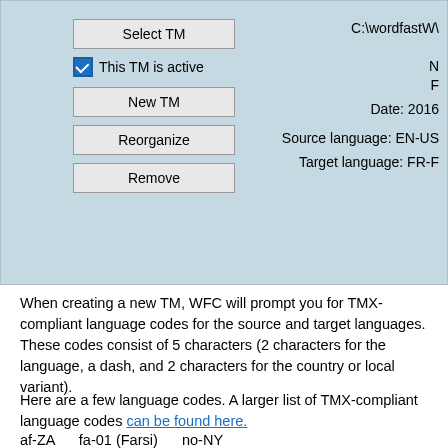[Figure (screenshot): UI panel with light blue background showing TM management buttons (Select TM, New TM, Reorganize, Remove), a checked checkbox 'This TM is active', and right-side info text showing file path C:\wordfastw\, date 2016, Source language EN-US, Target language FR-F]
When creating a new TM, WFC will prompt you for TMX-compliant language codes for the source and target languages. These codes consist of 5 characters (2 characters for the language, a dash, and 2 characters for the country or local variant).
Here are a few language codes. A larger list of TMX-compliant language codes can be found here.
af-ZA    fa-01 (Farsi)    no-NY